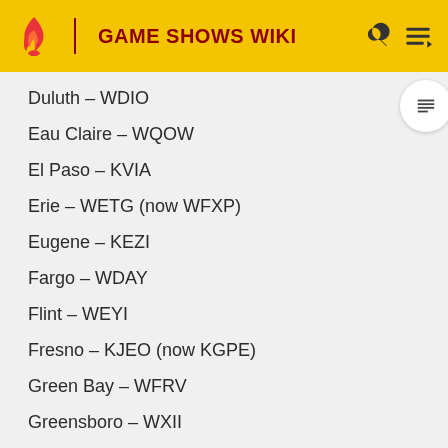GAME SHOWS WIKI
Duluth – WDIO
Eau Claire – WQOW
El Paso – KVIA
Erie – WETG (now WFXP)
Eugene – KEZI
Fargo – WDAY
Flint – WEYI
Fresno – KJEO (now KGPE)
Green Bay – WFRV
Greensboro – WXII
Greenville, NC – WNCT
Greenville, SC – WSPA
Harrisburg – WHP
Hartford – WVIT